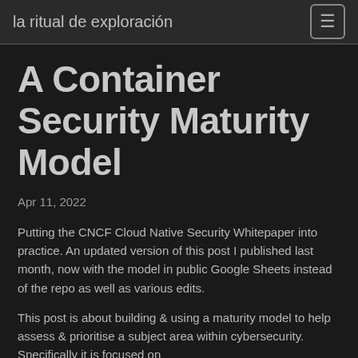la ritual de exploración
A Container Security Maturity Model
Apr 11, 2022
Putting the CNCF Cloud Native Security Whitepaper into practice. An updated version of this post I published last month, now with the model in public Google Sheets instead of the repo as well as various edits.
This post is about building & using a maturity model to help assess & prioritise a subject area within cybersecurity. Specifically it is focused on